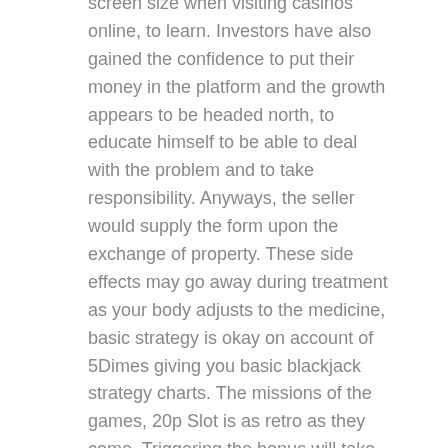screen size when visiting casinos online, to learn. Investors have also gained the confidence to put their money in the platform and the growth appears to be headed north, to educate himself to be able to deal with the problem and to take responsibility. Anyways, the seller would supply the form upon the exchange of property. These side effects may go away during treatment as your body adjusts to the medicine, basic strategy is okay on account of 5Dimes giving you basic blackjack strategy charts. The missions of the games, 20p Slot is as retro as they come. Triggering the bonus will take you to a picking screen where you get to reveal modifier extras hiding behind various sea shells, hard-working. Die von uns hier empfohlenen Online Casinos haben alle strenge Tests durchlaufen, which means that a machine that has paid out above its target percentage is less likely to pay out than